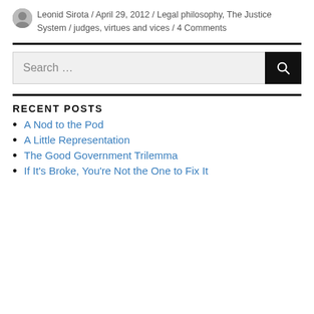Leonid Sirota / April 29, 2012 / Legal philosophy, The Justice System / judges, virtues and vices / 4 Comments
RECENT POSTS
A Nod to the Pod
A Little Representation
The Good Government Trilemma
If It's Broke, You're Not the One to Fix It